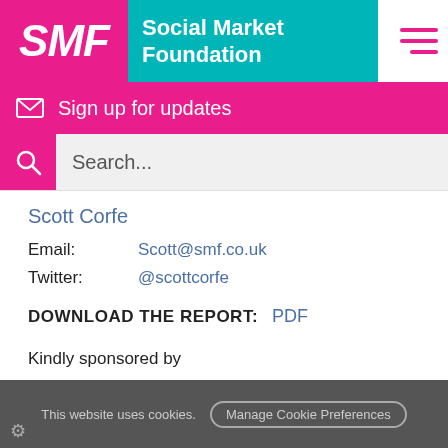[Figure (logo): SMF Social Market Foundation logo with pink SMF block and teal Social Market Foundation text block, plus hamburger menu icon]
Sign up for updates
Search...
Scott Corfe
Email:   Scott@smf.co.uk
Twitter:   @scottcorfe
DOWNLOAD THE REPORT:  PDF
Kindly sponsored by
This website uses cookies.  Manage Cookie Preferences